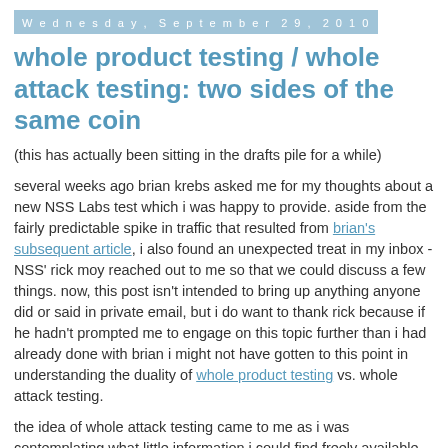Wednesday, September 29, 2010
whole product testing / whole attack testing: two sides of the same coin
(this has actually been sitting in the drafts pile for a while)
several weeks ago brian krebs asked me for my thoughts about a new NSS Labs test which i was happy to provide. aside from the fairly predictable spike in traffic that resulted from brian's subsequent article, i also found an unexpected treat in my inbox - NSS' rick moy reached out to me so that we could discuss a few things. now, this post isn't intended to bring up anything anyone did or said in private email, but i do want to thank rick because if he hadn't prompted me to engage on this topic further than i had already done with brian i might not have gotten to this point in understanding the duality of whole product testing vs. whole attack testing.
the idea of whole attack testing came to me as i was contemplating what little information i could find freely available about NSS' most recent test of how well anti-